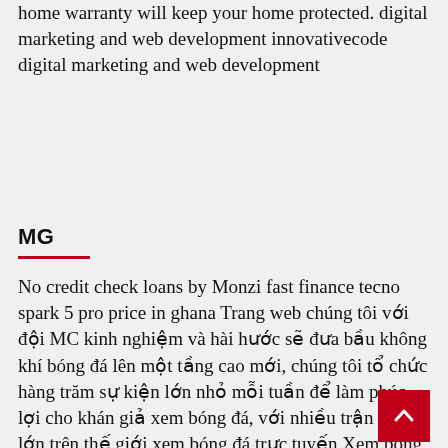home warranty will keep your home protected. digital marketing and web development innovativecode digital marketing and web development
MG
No credit check loans by Monzi fast finance tecno spark 5 pro price in ghana Trang web chúng tôi với đội MC kinh nghiệm và hài hước sẽ đưa bầu không khí bóng đá lên một tầng cao mới, chúng tôi tổ chức hàng trăm sự kiện lớn nhỏ mỗi tuần để làm phúc lợi cho khán giả xem bóng đá, với nhiều trận đấu lớn trên thế giới xem bóng đá trực tuyến Xem bóng đá 24h tại đây, hãy tham gia cùng chúng tôi để đón xem những trận đấu h nhất được trực tiếp trên trang của chúng tôi, hã đón xem nào